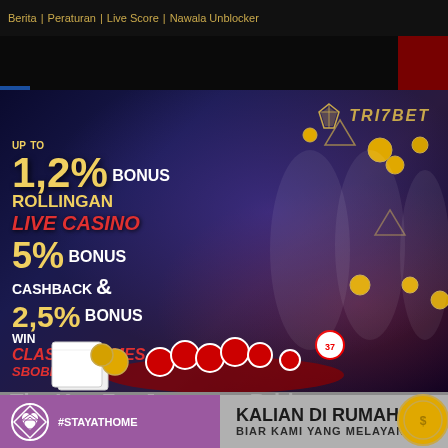Berita | Peraturan | Live Score | Nawala Unblocker
[Figure (illustration): Online casino promotional banner for Trizbet showing three women in white dresses, casino chips, playing cards, and dice on a dark background with neon lighting effects]
UP TO 1,2% BONUS ROLLINGAN LIVE CASINO 5% BONUS CASHBACK & 2,5% BONUS WIN CLASSIC GAMES SBOBET
[Figure (logo): Trizbet logo with diamond/triangle geometric mark and gold text]
#STAYATHOME
KALIAN DI RUMAH AJA
BIAR KAMI YANG MELAYANI